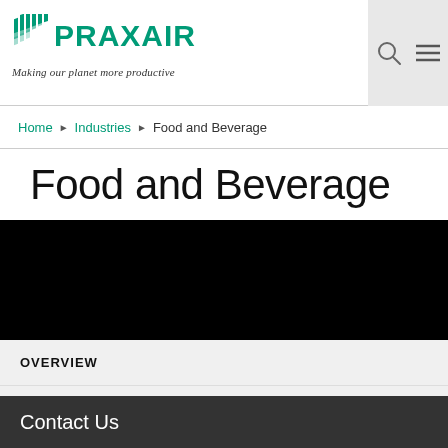Praxair — Making our planet more productive
Home ▶ Industries ▶ Food and Beverage
Food and Beverage
[Figure (photo): Black hero banner image for Food and Beverage industry page]
OVERVIEW
RELATED GASES
APPLICATIONS
Contact Us